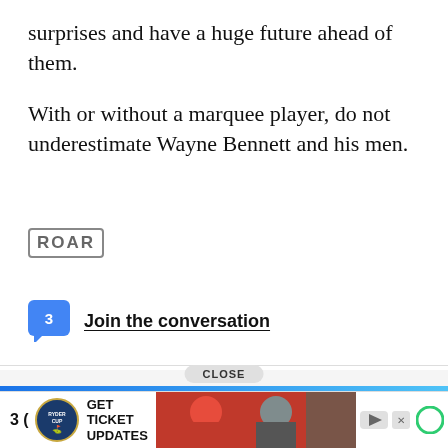surprises and have a huge future ahead of them.
With or without a marquee player, do not underestimate Wayne Bennett and his men.
[Figure (logo): ROAR logo in a rounded rectangle border]
3  Join the conversation
PlayUp is a proudly Australian-owned bookmaker with the best customer service in the business. Looking for a punt? PlayUp is your best. Please gamble responsibly
[Figure (infographic): Advertisement banner: GET TICKET UPDATES with Ryder Cup logo and golf player photos, CLOSE button overlay]